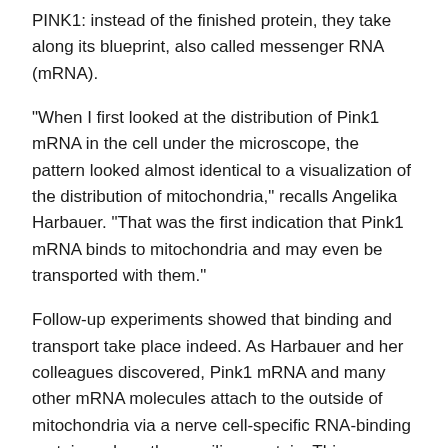PINK1: instead of the finished protein, they take along its blueprint, also called messenger RNA (mRNA).
"When I first looked at the distribution of Pink1 mRNA in the cell under the microscope, the pattern looked almost identical to a visualization of the distribution of mitochondria," recalls Angelika Harbauer. "That was the first indication that Pink1 mRNA binds to mitochondria and may even be transported with them."
Follow-up experiments showed that binding and transport take place indeed. As Harbauer and her colleagues discovered, Pink1 mRNA and many other mRNA molecules attach to the outside of mitochondria via a nerve cell-specific RNA-binding protein and another auxiliary protein. This way, they reach all the places in the cell where mitochondria are located. The mRNA can then be used to produce PINK1 protein in case of a mitochondrial defect